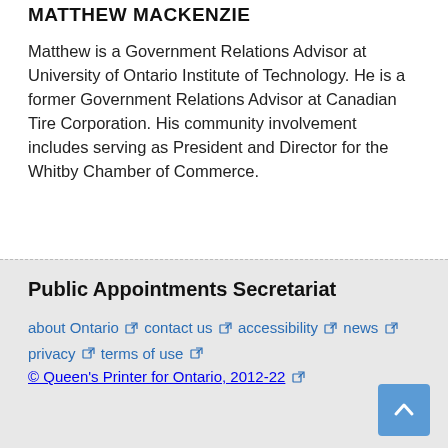MATTHEW MACKENZIE
Matthew is a Government Relations Advisor at University of Ontario Institute of Technology. He is a former Government Relations Advisor at Canadian Tire Corporation. His community involvement includes serving as President and Director for the Whitby Chamber of Commerce.
Public Appointments Secretariat
about Ontario | contact us | accessibility | news | privacy | terms of use | © Queen's Printer for Ontario, 2012-22